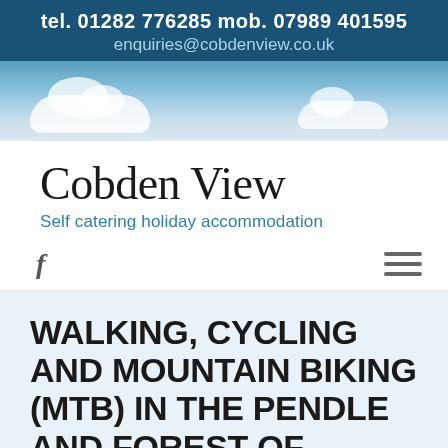tel. 01282 776285 mob. 07989 401595
enquiries@cobdenview.co.uk
[Figure (photo): Sky with white clouds banner image]
Cobden View
Self catering holiday accommodation
[Figure (infographic): Facebook icon and hamburger menu icon navigation bar]
WALKING, CYCLING AND MOUNTAIN BIKING (MTB) IN THE PENDLE AND FOREST OF BOWLAND